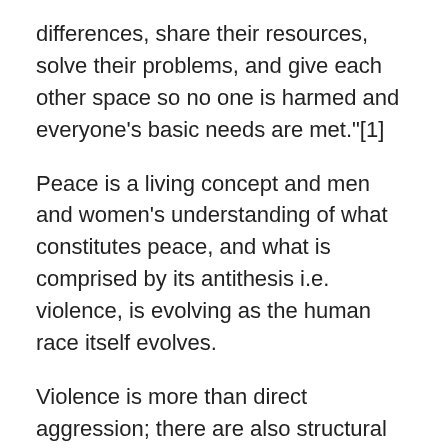differences, share their resources, solve their problems, and give each other space so no one is harmed and everyone's basic needs are met."[1]
Peace is a living concept and men and women's understanding of what constitutes peace, and what is comprised by its antithesis i.e. violence, is evolving as the human race itself evolves.
Violence is more than direct aggression; there are also structural and cultural dimensions to violence like poverty, unemployment (structural), censorship and sexual discrimination (cultural). If governments, educators, the media and every aware individual were to label these additional categories of violence as such, more men and women would come to understand how far we still are from creating a culture of peace and how important it is to